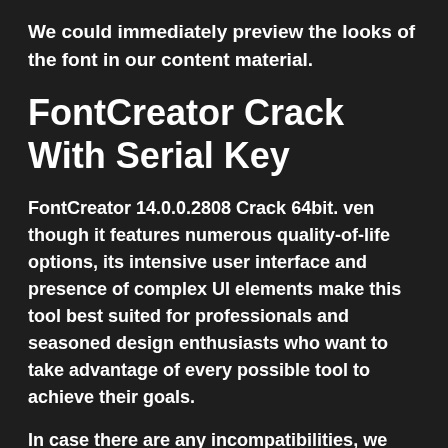We could immediately preview the looks of the font in our content material.
FontCreator Crack With Serial Key
FontCreator 14.0.0.2808 Crack 64bit. ven though it features numerous quality-of-life options, its intensive user interface and presence of complex UI elements make this tool best suited for professionals and seasoned design enthusiasts who want to take advantage of every possible tool to achieve their goals.
In case there are any incompatibilities, we may make appropriate corrections already in the font design period. The software allows the selection and adjustment of individual personas and can convert